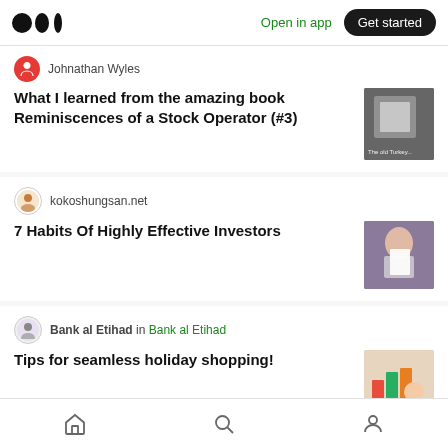Medium — Open in app | Get started
Johnathan Wyles
What I learned from the amazing book Reminiscences of a Stock Operator (#3)
[Figure (photo): Thumbnail image of book 'The old Turkey']
kokoshungsan.net
7 Habits Of Highly Effective Investors
[Figure (photo): Thumbnail of person reading a book]
Bank al Etihad in Bank al Etihad
Tips for seamless holiday shopping!
[Figure (photo): Thumbnail of holiday shopping illustration]
kokoshungsan.net
[Figure (photo): Thumbnail of partially visible article]